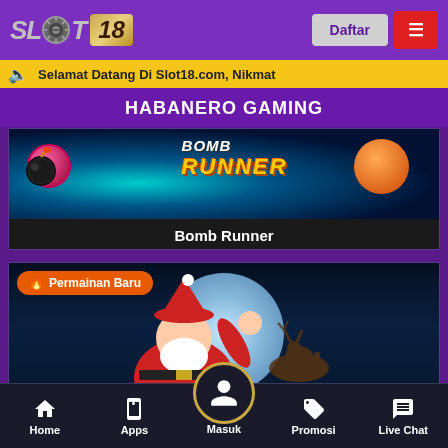[Figure (screenshot): Slot18 website header with logo and navigation buttons (Daftar, menu)]
Selamat Datang Di Slot18.com, Nikmat
HABANERO GAMING
[Figure (screenshot): Bomb Runner game card with colorful game artwork showing BOMB RUNNER title text]
Bomb Runner
[Figure (screenshot): Santa Village game card with Permainan Baru badge and Santa Claus artwork]
Home | Apps | Masuk | Promosi | Live Chat